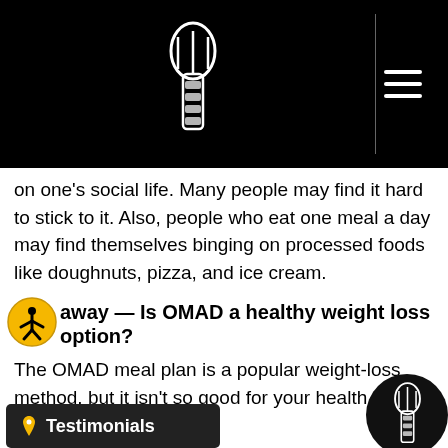Website header with logo and navigation
on one's social life. Many people may find it hard to stick to it. Also, people who eat one meal a day may find themselves binging on processed foods like doughnuts, pizza, and ice cream.
away — Is OMAD a healthy weight loss option?
The OMAD meal plan is a popular weight-loss method, but it isn't so good for your health in the long term.
While fasting may benefit your health in several ways, you can achieve these benefits with healthier and more sustainable methods. For instance, you can do the 16/8 intermittent fasting or adopt a healthy, low-calorie diet if you are currently eating large portions and seek to enhance weight loss.
health professionals do not recommend the OMAD eating plan because of its extreme nature.